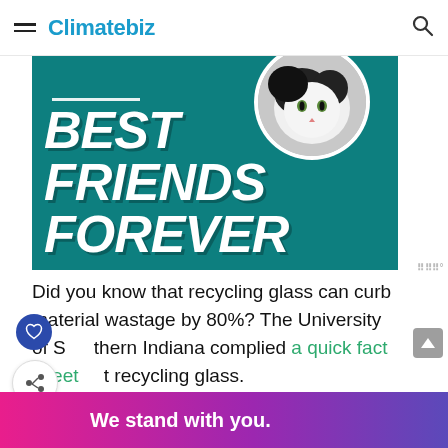Climatebiz
[Figure (illustration): Advertisement banner with teal background showing 'BEST FRIENDS FOREVER' in large white bold italic text, with a circular inset photo of a black and white cat in the top right corner.]
Did you know that recycling glass can curb material wastage by 80%? The University of Southern Indiana complied a quick fact sheet about recycling glass.
[Figure (other): Bottom advertisement banner with gradient background (pink to purple to blue) reading 'We stand with you.' in white bold text, with a close (X) button.]